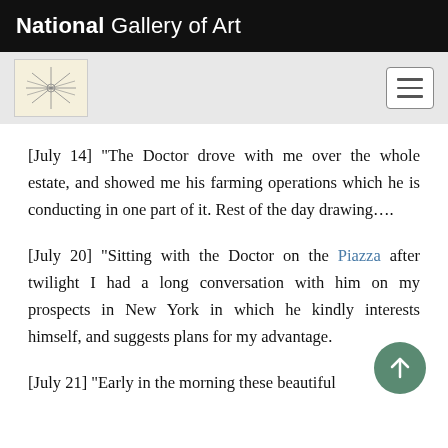National Gallery of Art
[July 14] "The Doctor drove with me over the whole estate, and showed me his farming operations which he is conducting in one part of it. Rest of the day drawing….
[July 20] "Sitting with the Doctor on the Piazza after twilight I had a long conversation with him on my prospects in New York in which he kindly interests himself, and suggests plans for my advantage.
[July 21] "Early in the morning these beautiful